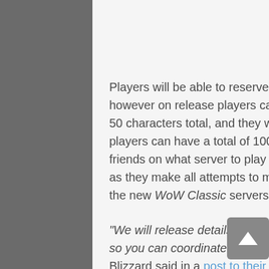Players will be able to reserve just three names ahead of the game's launch, however on release players can create 10 characters per realm to a maximum of 50 characters total, and they will not be shared with the main game, meaning players can have a total of 100 characters if that's your thing. Co-ordinating with friends on what server to play on has also come into consideration by Blizzard, as they make all attempts to make sure players are spread evenly across all of the new WoW Classic servers.
"We will release details regarding realm names and realm types later this week so you can coordinate with your friends on where to begin your adventure", Blizzard said in a post to their official forums, "If there are high numbers of players congregating on individual realms during the name reservation/character creation process, we will post